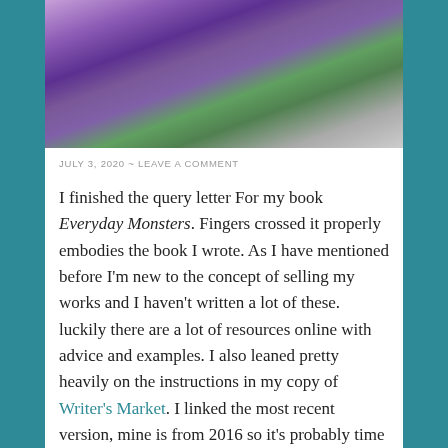[Figure (photo): A decorative figurine of a purple and green octopus-like creature with tentacles, shown against a light gray background. Only the bottom portion of the figurine is visible.]
JULY 3, 2020  ~  LEAVE A COMMENT
I finished the query letter For my book Everyday Monsters. Fingers crossed it properly embodies the book I wrote. As I have mentioned before I'm new to the concept of selling my works and I haven't written a lot of these. luckily there are a lot of resources online with advice and examples. I also leaned pretty heavily on the instructions in my copy of Writer's Market. I linked the most recent version, mine is from 2016 so it's probably time for an upgrade.
As I do with all my writing projects I picked a